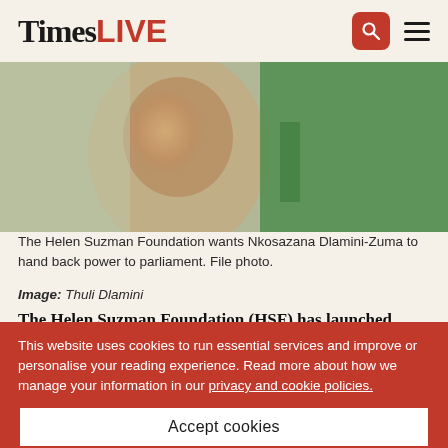Times LIVE
[Figure (photo): Close-up photo of Nkosazana Dlamini-Zuma, partially blurred, with green fabric visible]
The Helen Suzman Foundation wants Nkosazana Dlamini-Zuma to hand back power to parliament. File photo.
Image: Thuli Dlamini
The Helen Suzman Foundation (HSF) has launched another legal challenge to government's Covid-19 laws.
[Figure (other): Advertisement for HUAWEI MateBook X Pro Premium Edition]
This website uses cookies to run essential services and improve or personalise your reading experience. Read more about how we manage your information in our privacy and cookie policies.